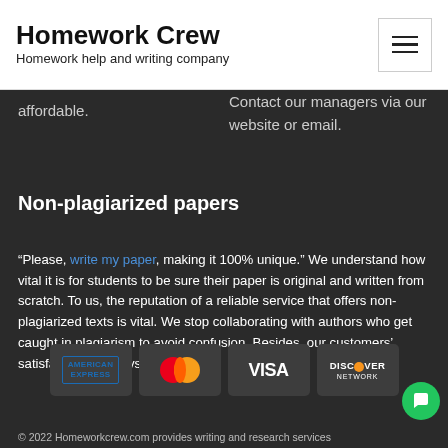Homework Crew
Homework help and writing company
affordable.
Contact our managers via our website or email.
Non-plagiarized papers
“Please, write my paper, making it 100% unique.” We understand how vital it is for students to be sure their paper is original and written from scratch. To us, the reputation of a reliable service that offers non-plagiarized texts is vital. We stop collaborating with authors who get caught in plagiarism to avoid confusion. Besides, our customers’ satisfaction rate says it all.
[Figure (logo): Payment method logos: American Express, Mastercard, Visa, Discover Network]
© 2022 Homeworkcrew.com provides writing and research services